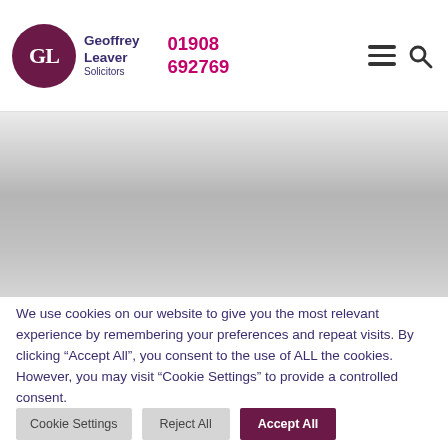[Figure (logo): Geoffrey Leaver Solicitors logo with GL monogram in dark purple circle and firm name beside it]
01908 692769
[Figure (screenshot): Website hero area with gray gradient background]
We use cookies on our website to give you the most relevant experience by remembering your preferences and repeat visits. By clicking “Accept All”, you consent to the use of ALL the cookies. However, you may visit "Cookie Settings" to provide a controlled consent.
Cookie Settings
Reject All
Accept All